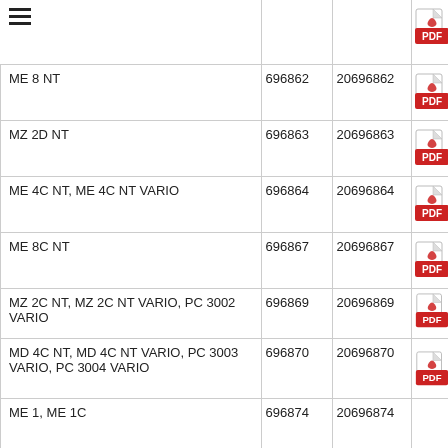| Model | ID1 | ID2 | PDF |
| --- | --- | --- | --- |
| (menu) |  |  | pdf |
| ME 8 NT | 696862 | 20696862 | pdf |
| MZ 2D NT | 696863 | 20696863 | pdf |
| ME 4C NT, ME 4C NT VARIO | 696864 | 20696864 | pdf |
| ME 8C NT | 696867 | 20696867 | pdf |
| MZ 2C NT, MZ 2C NT VARIO, PC 3002 VARIO | 696869 | 20696869 | pdf |
| MD 4C NT, MD 4C NT VARIO, PC 3003 VARIO, PC 3004 VARIO | 696870 | 20696870 | pdf |
| ME 1, ME 1C | 696874 | 20696874 | pdf |